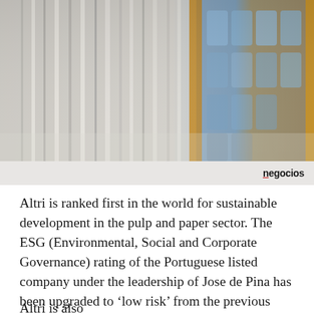[Figure (photo): Industrial photograph showing stacked white paper reams or rolls in the foreground (left portion), and blue water bottles on a yellow metal shelf in the background (right portion). The image has shallow depth of field with blurred background.]
negocios
Altri is ranked first in the world for sustainable development in the pulp and paper sector. The ESG (Environmental, Social and Corporate Governance) rating of the Portuguese listed company under the leadership of Jose de Pina has been upgraded to ‘low risk’ from the previous level of ‘medium risk’, making the company one of the top ten in the world.
[partial text cut off at bottom of page]